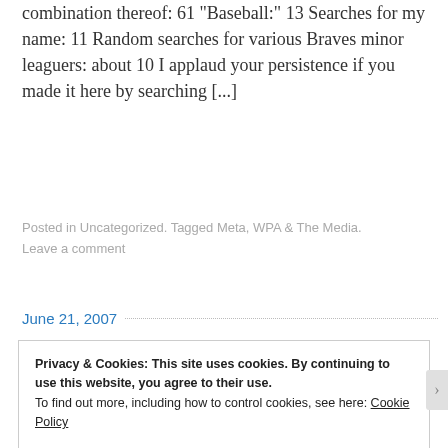combination thereof: 61 "Baseball:" 13 Searches for my name: 11 Random searches for various Braves minor leaguers: about 10 I applaud your persistence if you made it here by searching [...]
Posted in Uncategorized. Tagged Meta, WPA & The Media. Leave a comment
June 21, 2007
Privacy & Cookies: This site uses cookies. By continuing to use this website, you agree to their use. To find out more, including how to control cookies, see here: Cookie Policy
Close and accept